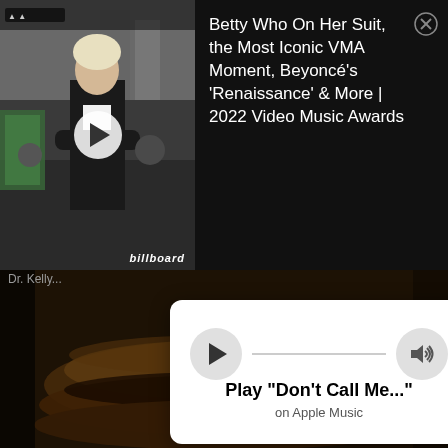[Figure (screenshot): Video thumbnail showing person in black jacket at outdoor event, with Billboard watermark]
Betty Who On Her Suit, the Most Iconic VMA Moment, Beyoncé's 'Renaissance' & More | 2022 Video Music Awards
[Figure (photo): Background photo of a hamburger/food item in dimly lit setting]
Play "Don't Call Me..."
on Apple Music